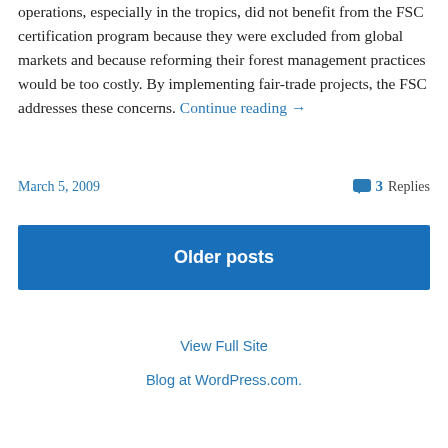operations, especially in the tropics, did not benefit from the FSC certification program because they were excluded from global markets and because reforming their forest management practices would be too costly. By implementing fair-trade projects, the FSC addresses these concerns. Continue reading →
March 5, 2009
3 Replies
Older posts
View Full Site
Blog at WordPress.com.